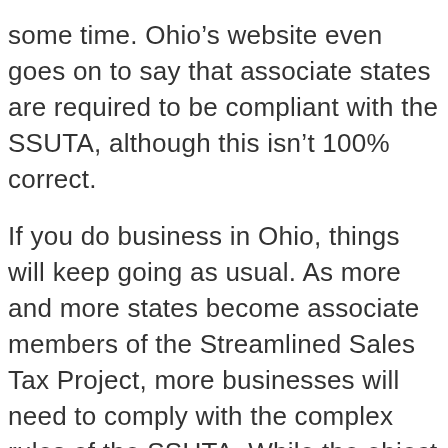some time. Ohio’s website even goes on to say that associate states are required to be compliant with the SSUTA, although this isn’t 100% correct.
If you do business in Ohio, things will keep going as usual. As more and more states become associate members of the Streamlined Sales Tax Project, more businesses will need to comply with the complex rules of the SSUTA. While the object of the SSUTA is to make things uniform, any differences from current sales tax rules are something businesses will need to prepare for—even if it it’s easier in the end, it’s not a simple changeover. This means that it’s a good time to review your sales tax filing software and make